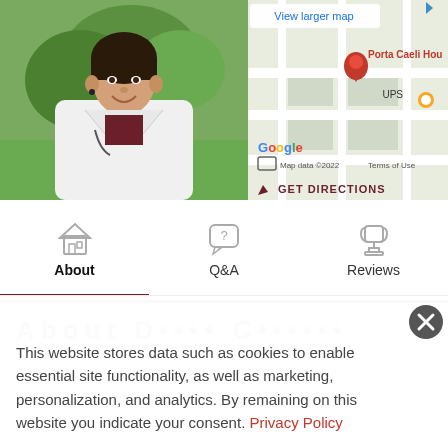[Figure (photo): Female doctor in white coat standing outdoors near trees, smiling]
[Figure (map): Google Maps screenshot showing location of Porta Caeli House with red pin marker, UPS store nearby, View larger map link, GET DIRECTIONS button. Map data ©2022, Terms of Use.]
[Figure (infographic): Navigation bar with three icons and labels: About (house icon, active with dark underline), Q&A (speech bubble with question mark), Reviews (trophy/cup icon)]
About Porta Caeli...
This website stores data such as cookies to enable essential site functionality, as well as marketing, personalization, and analytics. By remaining on this website you indicate your consent. Privacy Policy